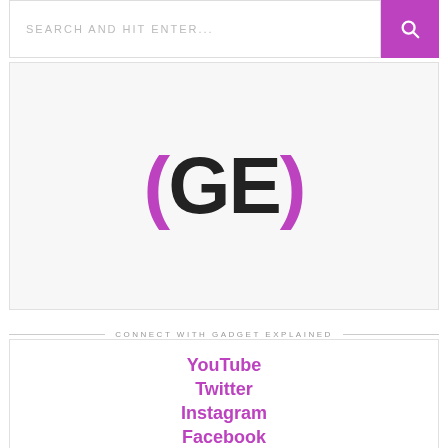SEARCH AND HIT ENTER...
[Figure (logo): (GE) logo with parentheses in purple and GE in black, large bold text]
CONNECT WITH GADGET EXPLAINED
YouTube
Twitter
Instagram
Facebook
Pinterest